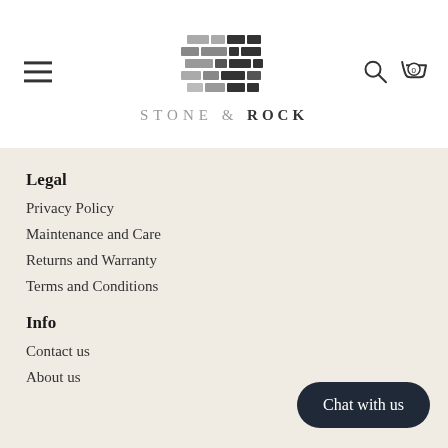STONE & ROCK — navigation header with hamburger menu, logo, search and cart icons
Legal
Privacy Policy
Maintenance and Care
Returns and Warranty
Terms and Conditions
Info
Contact us
About us
Chat with us